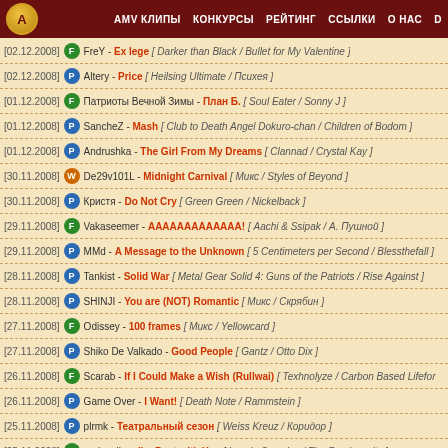AMV КЛИПЫ  КОНКУРСЫ  РЕЙТИНГ  ССЫЛКИ  О НАС  D
[02.12.2008] F FreY - Ex Iege [ Darker than Black / Bullet for My Valentine ]
[02.12.2008] P Altery - Price [ Heilsing Ultimate / Психея ]
[01.12.2008] F Патриоты Вечной Зимы - План Б. [ Soul Eater / Sonny J ]
[01.12.2008] P SancheZ - Mash [ Club to Death Angel Dokuro-chan / Children of Bodom ]
[01.12.2008] P Andrushka - The Girl From My Dreams [ Clannad / Crystal Kay ]
[30.11.2008] W De29v101L - Midnight Carnival [ Микс / Styles of Beyond ]
[30.11.2008] P Кристя - Do Not Cry [ Green Green / Nickelback ]
[29.11.2008] F Vakaseemer - ААААААААААААА! [ Aachi & Ssipak / А. Пушной ]
[29.11.2008] P MMd - A Message to the Unknown [ 5 Centimeters per Second / Blessthefall ]
[28.11.2008] P Tankist - Solid War [ Metal Gear Solid 4: Guns of the Patriots / Rise Against ]
[28.11.2008] P SHINJI - You are (NOT) Romantic [ Микс / Скрябин ]
[27.11.2008] F Odissey - 100 frames [ Микс / Yellowcard ]
[27.11.2008] P Shiko De Valkado - Good People [ Gantz / Otto Dix ]
[26.11.2008] F Scarab - If I Could Make a Wish (Rullwai) [ Texhnolyze / Carbon Based Lifeforms ]
[26.11.2008] P Game Over - I Want! [ Death Note / Rammstein ]
[25.11.2008] P plrmk - Театральный сезон [ Weiss Kreuz / Коридор ]
[25.11.2008] F nerjaveika - I'm Best with You [ Lovely Complex / The Rembrandts ]
[24.11.2008] F his1productions - Ages of Devil May Cry 4 [ Devil May Cry 4 / Slipknot ]